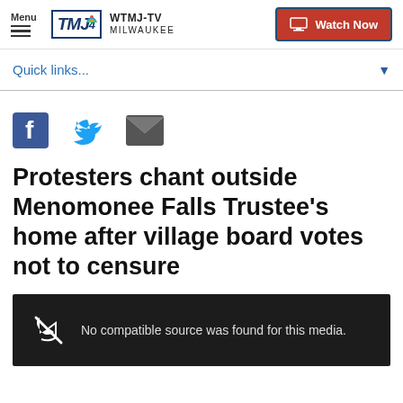Menu | WTMJ-TV MILWAUKEE | Watch Now
Quick links...
[Figure (other): Social share icons: Facebook, Twitter, Email]
Protesters chant outside Menomonee Falls Trustee's home after village board votes not to censure
[Figure (other): Video player showing error: No compatible source was found for this media.]